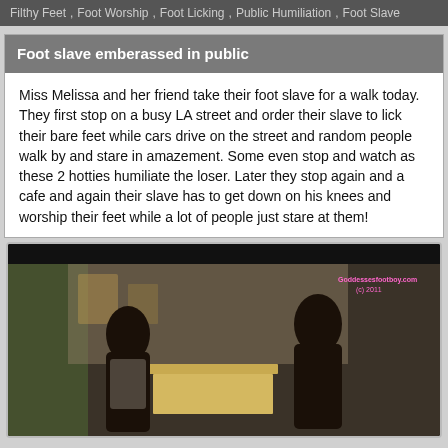Filthy Feet , Foot Worship , Foot Licking , Public Humiliation , Foot Slave
Foot slave emberassed in public
Miss Melissa and her friend take their foot slave for a walk today. They first stop on a busy LA street and order their slave to lick their bare feet while cars drive on the street and random people walk by and stare in amazement. Some even stop and watch as these 2 hotties humiliate the loser. Later they stop again and a cafe and again their slave has to get down on his knees and worship their feet while a lot of people just stare at them!
[Figure (photo): Two women sitting at a cafe table, indoors, with a watermark reading Goddessesfootboy.com (c) 2011]